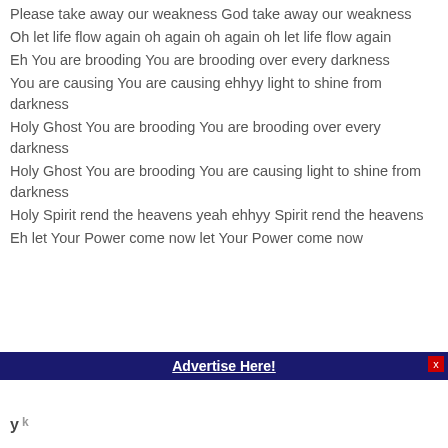Please take away our weakness God take away our weakness
Oh let life flow again oh again oh again oh let life flow again
Eh You are brooding You are brooding over every darkness
You are causing You are causing ehhyy light to shine from darkness
Holy Ghost You are brooding You are brooding over every darkness
Holy Ghost You are brooding You are causing light to shine from darkness
Holy Spirit rend the heavens yeah ehhyy Spirit rend the heavens
Eh let Your Power come now let Your Power come now
Advertise Here!
[Figure (logo): Small logo mark in bottom left, appears to be a stylized 'y' symbol]